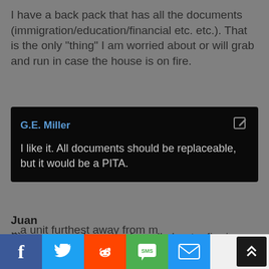I have a back pack that has all the documents (immigration/education/financial etc. etc.). That is the only “thing” I am worried about or will grab and run in case the house is on fire.
[Figure (screenshot): Dark comment box with author name G.E. Miller in blue and edit icon, containing comment text: I like it. All documents should be replaceable, but it would be a PITA.]
Juan
Six years ago I received a call about a fire in my apartment complex. I was out of town and I had no idea what I would be coming back to. My heart dropped with the thought of hundreds of pictures laying in ashes. [...]a unit furthest away from m[e]
[Figure (screenshot): Bottom social sharing bar with Facebook, Twitter, Reddit, SMS, Email buttons and scroll-to-top button]